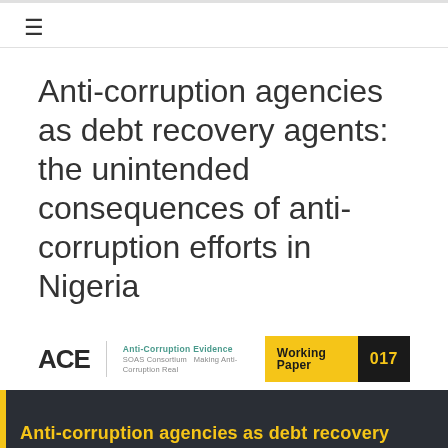≡
Anti-corruption agencies as debt recovery agents: the unintended consequences of anti-corruption efforts in Nigeria
[Figure (logo): ACE Anti-Corruption Evidence – Making Anti-Corruption Real logo with consortium branding]
Working Paper 017
Anti-corruption agencies as debt recovery